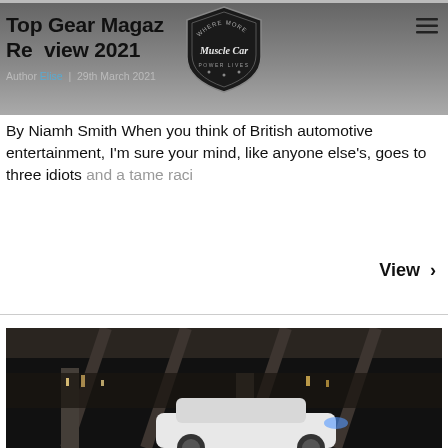Top Gear Magazine Review 2021
Author Elise | 29th March 2021
[Figure (logo): Muscle Car logo badge — shield/pennant shape with text 'WHERE MORE POWER LIVES' and stylized 'Muscle Car' script]
By Niamh Smith When you think of British automotive entertainment, I'm sure your mind, like anyone else's, goes to three idiots and a tame raci
View ›
[Figure (photo): Night photograph of a white car parked under a highway overpass / elevated road structure with city lights in the background]